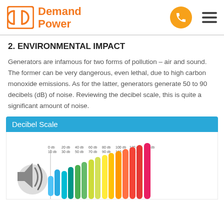Demand Power
2. ENVIRONMENTAL IMPACT
Generators are infamous for two forms of pollution – air and sound. The former can be very dangerous, even lethal, due to high carbon monoxide emissions. As for the latter, generators generate 50 to 90 decibels (dB) of noise. Reviewing the decibel scale, this is quite a significant amount of noise.
[Figure (infographic): Decibel Scale infographic showing a color-coded scale from 0 dB to 140 dB with oval/pill-shaped bars growing in height from blue (quiet) through green, yellow, orange to red/pink (loud). A speaker icon is on the left side.]